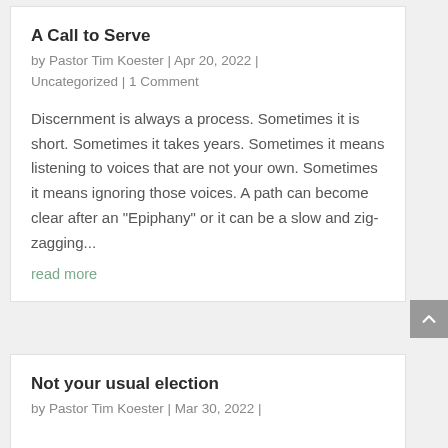A Call to Serve
by Pastor Tim Koester | Apr 20, 2022 | Uncategorized | 1 Comment
Discernment is always a process.  Sometimes it is short.  Sometimes it takes years.  Sometimes it means listening to voices that are not your own.  Sometimes it means ignoring those voices. A path can become clear after an "Epiphany" or it can be a slow and zig-zagging...
read more
Not your usual election
by Pastor Tim Koester | Mar 30, 2022 |